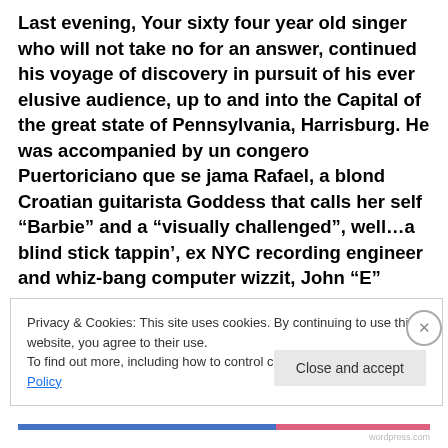Last evening, Your sixty four year old singer who will not take no for an answer, continued his voyage of discovery in pursuit of his ever elusive audience, up to and into the Capital of the great state of Pennsylvania, Harrisburg. He was accompanied by un congero Puertoriciano que se jama Rafael, a blond Croatian guitarista Goddess that calls her self “Barbie” and a “visually challenged”, well…a blind stick tappin’, ex NYC recording engineer and whiz-bang computer wizzit, John “E”
Privacy & Cookies: This site uses cookies. By continuing to use this website, you agree to their use.
To find out more, including how to control cookies, see here: Cookie Policy